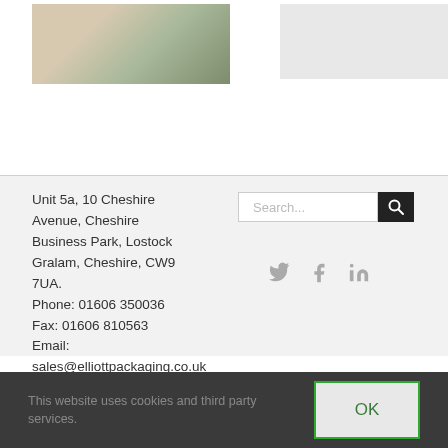[Figure (photo): Two photos at top of page: left photo shows decorative flowers/arrangement, right photo is a light grey placeholder box]
Unit 5a, 10 Cheshire Avenue, Cheshire Business Park, Lostock Gralam, Cheshire, CW9 7UA.
Phone: 01606 350036
Fax: 01606 810563
Email:
sales@elliottpackaging.co.uk
[Figure (screenshot): Search bar with input field and black search button icon]
[Figure (infographic): Social media icons: Twitter bird, Facebook f, LinkedIn in - all in grey]
This website uses cookies and third party services.
OK